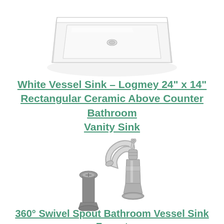[Figure (photo): White rectangular ceramic vessel sink viewed from above at slight angle, showing white glossy surface with drain hole]
White Vessel Sink – Logmey 24" x 14" Rectangular Ceramic Above Counter Bathroom Vanity Sink
[Figure (photo): Brushed nickel bathroom vessel sink faucet with 360 degree swivel spout and decorative Victorian-style base, shown with matching drain assembly]
360° Swivel Spout Bathroom Vessel Sink Faucet